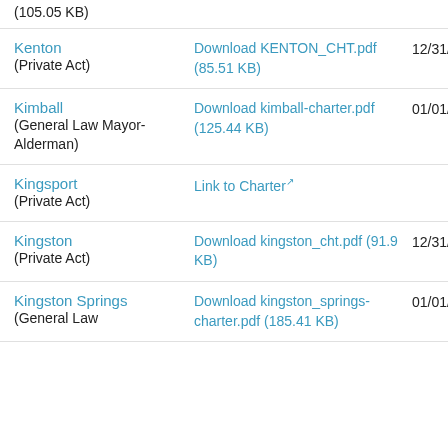(105.05 KB)
Kenton (Private Act) | Download KENTON_CHT.pdf (85.51 KB) | 12/31/202
Kimball (General Law Mayor-Alderman) | Download kimball-charter.pdf (125.44 KB) | 01/01/201
Kingsport (Private Act) | Link to Charter
Kingston (Private Act) | Download kingston_cht.pdf (91.9 KB) | 12/31/202
Kingston Springs (General Law | Download kingston_springs-charter.pdf (185.41 KB) | 01/01/201